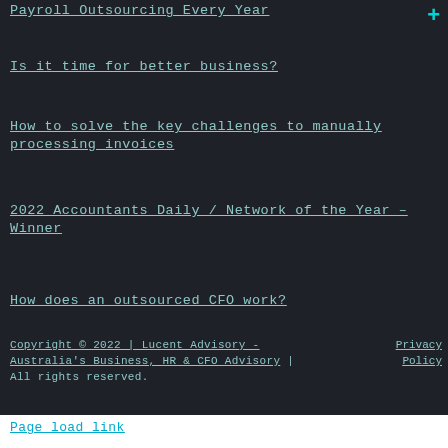Payroll Outsourcing Every Year
Is it time for better business?
How to solve the key challenges to manually processing invoices
2022 Accountants Daily / Network of the Year – Winner
How does an outsourced CFO work?
Copyright © 2022 | Lucent Advisory - Australia's Business, HR & CFO Advisory | All rights reserved.
Privacy Policy
Page load link